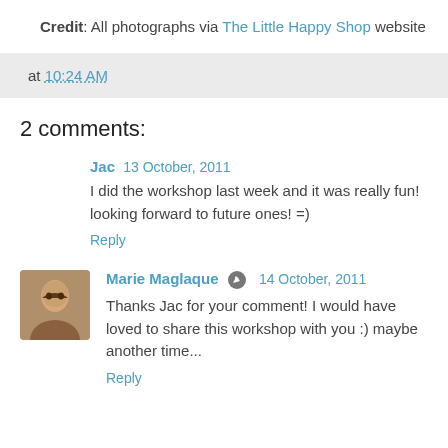Credit: All photographs via The Little Happy Shop website
at 10:24 AM
2 comments:
Jac  13 October, 2011
I did the workshop last week and it was really fun! looking forward to future ones! =)
Reply
Marie Maglaque  14 October, 2011
Thanks Jac for your comment! I would have loved to share this workshop with you :) maybe another time...
Reply